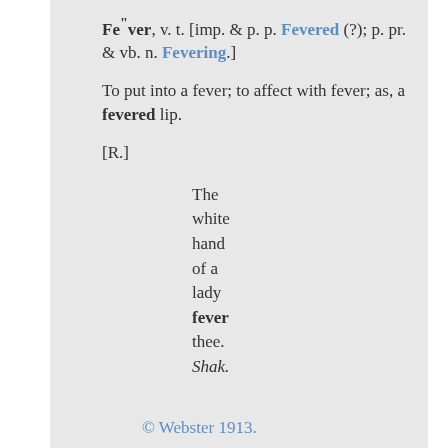Fe"ver, v. t. [imp. & p. p. Fevered (?); p. pr. & vb. n. Fevering.]
To put into a fever; to affect with fever; as, a fevered lip.
[R.]
The white hand of a lady fever thee. Shak.
© Webster 1913.
[Figure (infographic): Social sharing bar with Twitter, Facebook, Delicious, Digg, StumbleUpon, Reddit icons and 'I like it!' text]